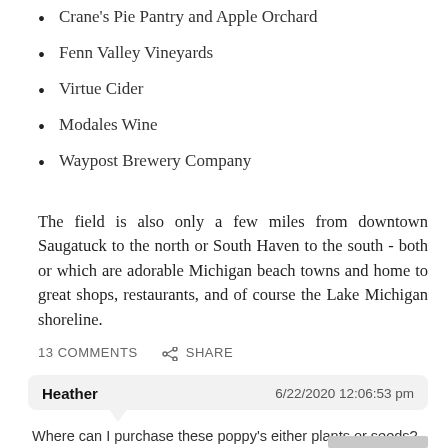Crane's Pie Pantry and Apple Orchard
Fenn Valley Vineyards
Virtue Cider
Modales Wine
Waypost Brewery Company
The field is also only a few miles from downtown Saugatuck to the north or South Haven to the south - both or which are adorable Michigan beach towns and home to great shops, restaurants, and of course the Lake Michigan shoreline.
13 COMMENTS   SHARE
Heather   6/22/2020 12:06:53 pm
Where can I purchase these poppy's either plants or seeds?